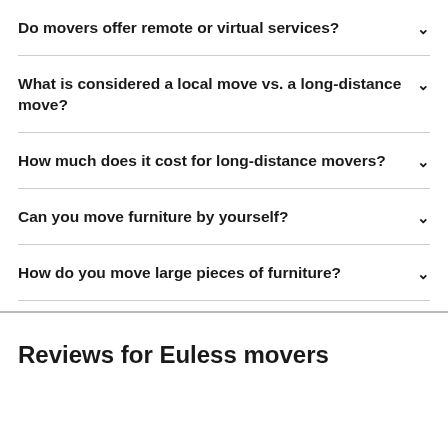Do movers offer remote or virtual services?
What is considered a local move vs. a long-distance move?
How much does it cost for long-distance movers?
Can you move furniture by yourself?
How do you move large pieces of furniture?
Reviews for Euless movers